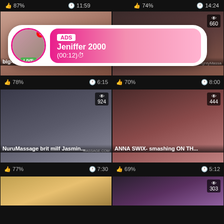87% | 11:59 | 74% | 14:24
[Figure (screenshot): Ad overlay with profile avatar, LIVE badge, ADS tag, name Jeniffer 2000, time (00:12)]
[Figure (screenshot): Video thumbnail: big-chested massagist fingered, 78%, 6:15]
[Figure (screenshot): Video thumbnail: huge-chested gal well-lubed..., 70%, 8:00, 660 views]
[Figure (screenshot): Video thumbnail: NuruMassage brit milf Jasmin..., 77%, 7:30, 924 views]
[Figure (screenshot): Video thumbnail: ANNA SWIX- smashing ON TH..., 69%, 5:12, 444 views]
[Figure (screenshot): Partial video thumbnails at bottom, one with 303 views]